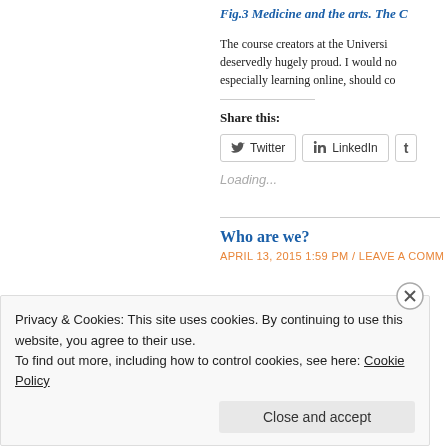Fig.3 Medicine and the arts. The C
The course creators at the Universi deservedly hugely proud. I would no especially learning online, should co
Share this:
[Figure (screenshot): Social share buttons: Twitter, LinkedIn, and a third partially visible button]
Loading...
Who are we?
APRIL 13, 2015 1:59 PM / LEAVE A COMM
Privacy & Cookies: This site uses cookies. By continuing to use this website, you agree to their use.
To find out more, including how to control cookies, see here: Cookie Policy
Close and accept